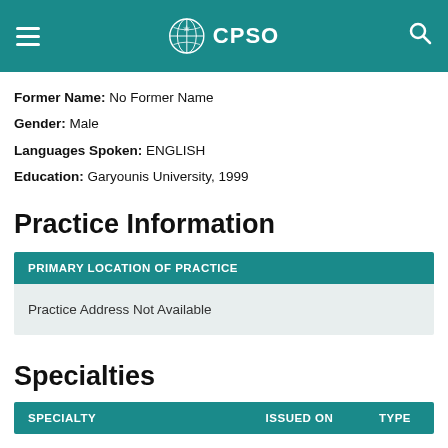CPSO
Former Name: No Former Name
Gender: Male
Languages Spoken: ENGLISH
Education: Garyounis University, 1999
Practice Information
| PRIMARY LOCATION OF PRACTICE |
| --- |
| Practice Address Not Available |
Specialties
| SPECIALTY | ISSUED ON | TYPE |
| --- | --- | --- |